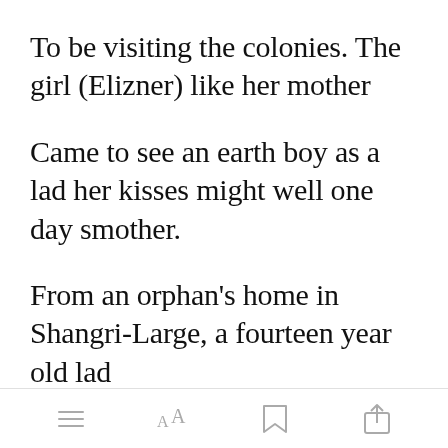To be visiting the colonies. The girl (Elizner) like her mother
Came to see an earth boy as a lad her kisses might well one day smother.
From an orphan's home in Shangri-Large, a fourteen year old lad
Open in app
Was enjoying his new life on